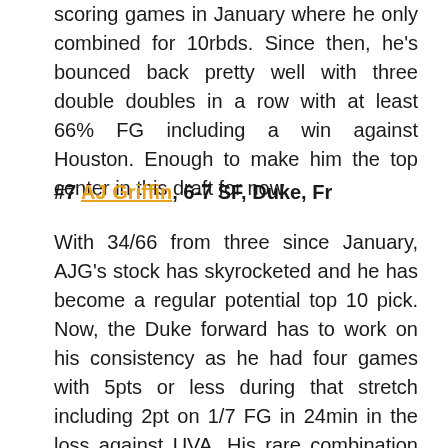scoring games in January where he only combined for 10rbds. Since then, he's bounced back pretty well with three double doubles in a row with at least 66% FG including a win against Houston. Enough to make him the top center in this draft for now.
#7 AJ Griffin, 6-7 SF, Duke, Fr
With 34/66 from three since January, AJG's stock has skyrocketed and he has become a regular potential top 10 pick. Now, the Duke forward has to work on his consistency as he had four games with 5pts or less during that stretch including 2pt on 1/7 FG in 24min in the loss against UVA. His rare combination of shooting and physical tools could land him in the top 5.